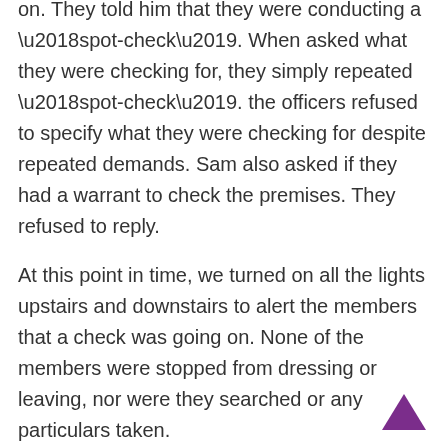on. They told him that they were conducting a ‘spot-check’. When asked what they were checking for, they simply repeated ‘spot-check’. the officers refused to specify what they were checking for despite repeated demands. Sam also asked if they had a warrant to check the premises. They refused to reply.
At this point in time, we turned on all the lights upstairs and downstairs to alert the members that a check was going on. None of the members were stopped from dressing or leaving, nor were they searched or any particulars taken.